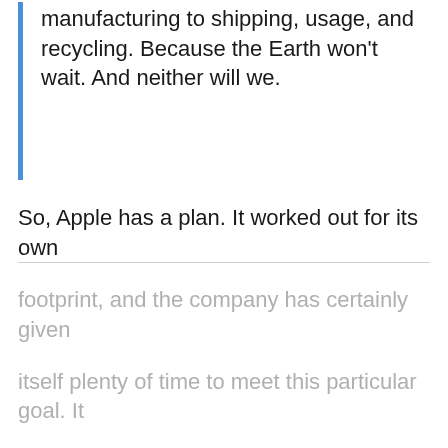manufacturing to shipping, usage, and recycling. Because the Earth won't wait. And neither will we.
So, Apple has a plan. It worked out for its own footprint, and the company has certainly given itself plenty of time to meet this particular goal. It